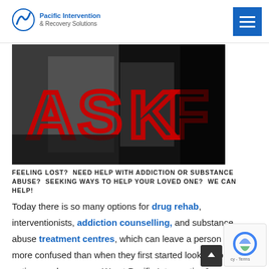Pacific Intervention & Recovery Solutions
[Figure (photo): Photo of red neon signs spelling 'ASK' against a dark metallic background]
FEELING LOST?  NEED HELP WITH ADDICTION OR SUBSTANCE ABUSE?  SEEKING WAYS TO HELP YOUR LOVED ONE?  WE CAN HELP!
Today there is so many options for drug rehab, interventionists, addiction counselling, and substance abuse treatment centres, which can leave a person more confused than when they first started looking for options and answers.  We at Pacific Intervention & Recovery Solutions have provided our readers w...